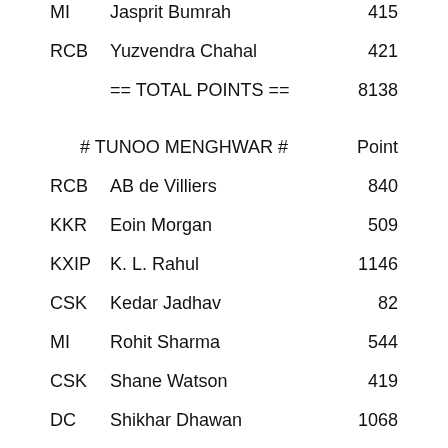MI   Jasprit Bumrah   415
RCB  Yuzvendra Chahal  421
== TOTAL POINTS ==  8138
# TUNOO MENGHWAR #  Point
RCB  AB de Villiers  840
KKR  Eoin Morgan  509
KXIP  K. L. Rahul  1146
CSK  Kedar Jadhav  82
MI  Rohit Sharma  544
CSK  Shane Watson  419
DC  Shikhar Dhawan  1068
CSK  MS Dhoni  380